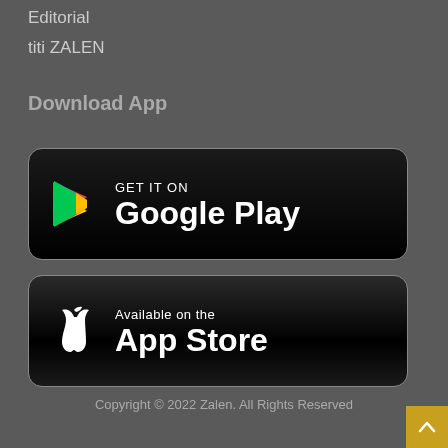Editorial
titi ZALEN
Download App
[Figure (logo): Google Play Store download button badge — black rounded rectangle with Google Play triangle logo in red/yellow/green/blue and text 'GET IT ON Google Play' in white]
[Figure (logo): Apple App Store download button badge — black rounded rectangle with white Apple logo and text 'Available on the App Store' in white]
Copyright © 2022 Zalen. All Rights Reserved